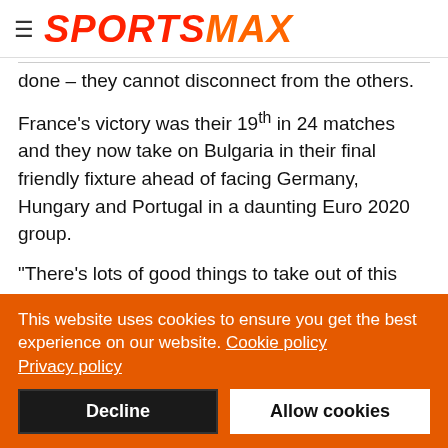SPORTSMAX
done – they cannot disconnect from the others.
France's victory was their 19th in 24 matches and they now take on Bulgaria in their final friendly fixture ahead of facing Germany, Hungary and Portugal in a daunting Euro 2020 group.
"There's lots of good things to take out of this game," Deschamps said after seeing his side keep a third clean sheet in a row for the first time since October 2017.
This website uses cookies to ensure you get the best experience on our website. Cookie policy Privacy policy
Decline
Allow cookies